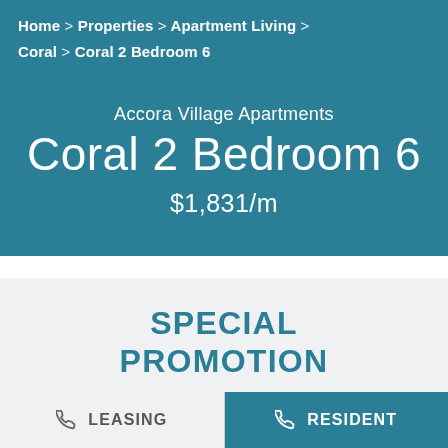Home > Properties > Apartment Living > Coral > Coral 2 Bedroom 6
Accora Village Apartments
Coral 2 Bedroom 6
$1,831/m
SPECIAL PROMOTION
LEASING   RESIDENT